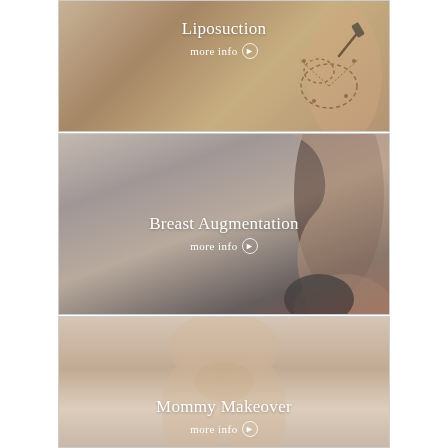[Figure (photo): Panel showing liposuction procedure with surgical markings on torso, title 'Liposuction' and 'more info' link with arrow]
[Figure (photo): Panel showing side profile of woman at beach, title 'Breast Augmentation' and 'more info' link with arrow]
[Figure (photo): Panel showing woman's body, title 'Mommy Makeover' and 'more info' link with arrow, partially cut off]